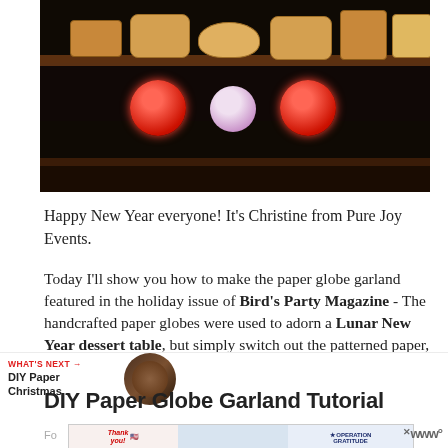[Figure (photo): Photo of a Lunar New Year dessert table display with mooncakes on elevated shelves, red and pink decorative lantern balls in the middle, dark background]
Happy New Year everyone! It's Christine from Pure Joy Events.
Today I'll show you how to make the paper globe garland featured in the holiday issue of Bird's Party Magazine - The handcrafted paper globes were used to adorn a Lunar New Year dessert table, but simply switch out the patterned paper, and they make fabulous decorations for any occasion.
WHAT'S NEXT → DIY Paper Christmas...
DIY Paper Globe Garland Tutorial
[Figure (photo): Advertisement banner: Thank You with American flag, people holding boxes, Operation Gratitude logo]